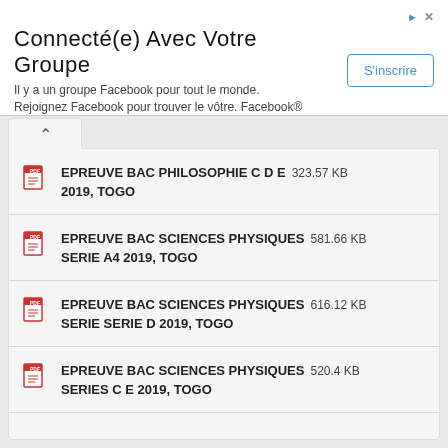Connecté(e) Avec Votre Groupe
Il y a un groupe Facebook pour tout le monde.
Rejoignez Facebook pour trouver le vôtre. Facebook®
EPREUVE BAC PHILOSOPHIE C D E 2019, TOGO — 323.57 KB
EPREUVE BAC SCIENCES PHYSIQUES SERIE A4 2019, TOGO — 581.66 KB
EPREUVE BAC SCIENCES PHYSIQUES SERIE SERIE D 2019, TOGO — 616.12 KB
EPREUVE BAC SCIENCES PHYSIQUES SERIES C E 2019, TOGO — 520.4 KB